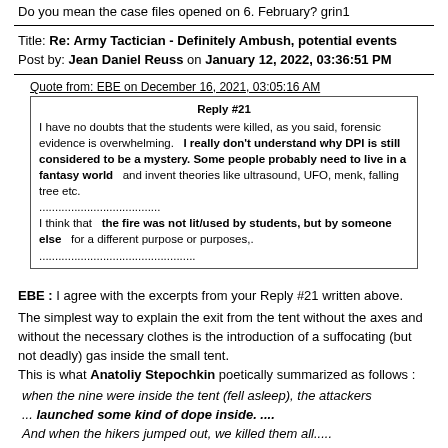Do you mean the case files opened on 6. February? grin1
Title: Re: Army Tactician - Definitely Ambush, potential events
Post by: Jean Daniel Reuss on January 12, 2022, 03:36:51 PM
Quote from: EBE on December 16, 2021, 03:05:16 AM
Reply #21
I have no doubts that the students were killed, as you said, forensic evidence is overwhelming.   I really don't understand why DPI is still considered to be a mystery. Some people probably need to live in a fantasy world   and invent theories like ultrasound, UFO, menk, falling tree etc.
......................................
I think that   the fire was not lit/used by students, but by someone else   for a different purpose or purposes,.
.................................................
EBE : I agree with the excerpts from your Reply #21 written above.

The simplest way to explain the exit from the tent without the axes and without the necessary clothes is the introduction of a suffocating (but not deadly) gas inside the small tent.
This is what Anatoliy Stepochkin poetically summarized as follows :
 when the nine were inside the tent (fell asleep), the attackers ... launched some kind of dope inside. ....
 And when the hikers jumped out, we killed them all.....

When you have learned a little chemistry you know that there are dozens of practical possibilities to dispose of non-lethal